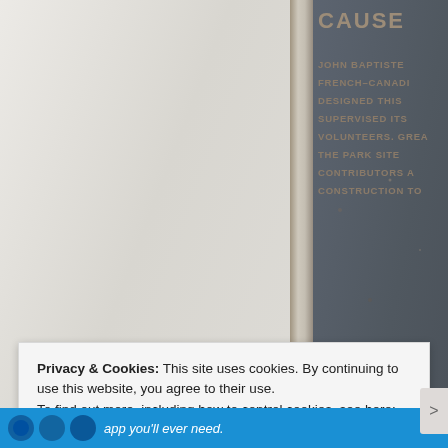[Figure (photo): Photograph of a dark stone or metal commemorative plaque partially visible on the right side, showing raised uppercase text including 'CAUSE', 'JOHN BAPTISTE', 'FRENCH-CANADI', 'DESIGNED THIS', 'SUPERVISED ITS', 'VOLUNTEERS. GREA', 'THE PARK SITE', 'CONTRIBUTORS A', 'CONSTRUCTION TO'. Left side shows a light grey/white painted wall. A metal divider strip separates the two panels.]
Privacy & Cookies: This site uses cookies. By continuing to use this website, you agree to their use.
To find out more, including how to control cookies, see here: Cookie Policy
Close and accept
app you'll ever need.